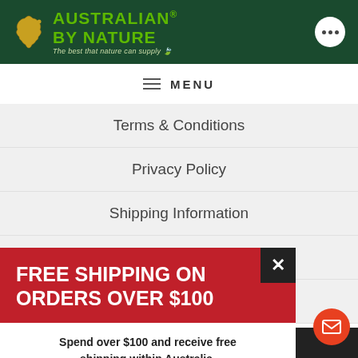[Figure (logo): Australian By Nature logo with gold Australia map outline on dark green background header bar, with three-dots circle icon on right]
MENU
Terms & Conditions
Privacy Policy
Shipping Information
Refund Policy
Contact Us
FREE SHIPPING ON ORDERS OVER $100
Spend over $100 and receive free shipping within Australia.